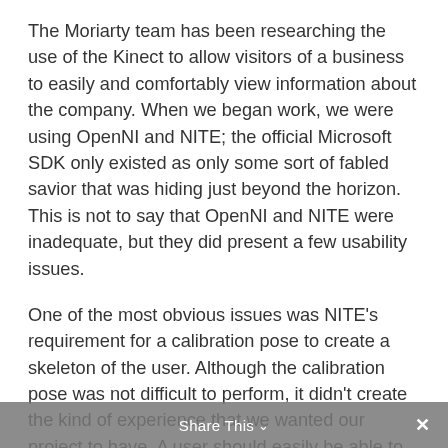The Moriarty team has been researching the use of the Kinect to allow visitors of a business to easily and comfortably view information about the company. When we began work, we were using OpenNI and NITE; the official Microsoft SDK only existed as only some sort of fabled savior that was hiding just beyond the horizon. This is not to say that OpenNI and NITE were inadequate, but they did present a few usability issues.
One of the most obvious issues was NITE's requirement for a calibration pose to create a skeleton of the user. Although the calibration pose was not difficult to perform, it didn't create the kind of experience that we wanted our project to have. A user should easily be able to walk up to the kiosk and instantly start interacting with the content on screen. A
Share This ∨  ×